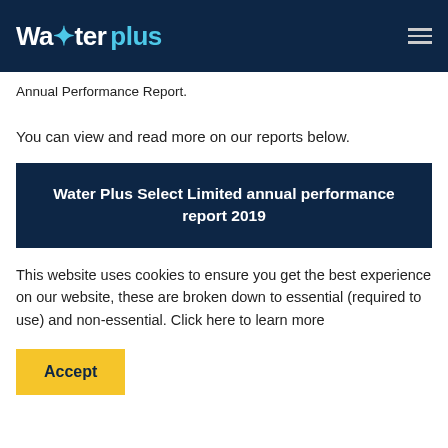Water Plus
Annual Performance Report.
You can view and read more on our reports below.
Water Plus Select Limited annual performance report 2019
This website uses cookies to ensure you get the best experience on our website, these are broken down to essential (required to use) and non-essential. Click here to learn more
Accept